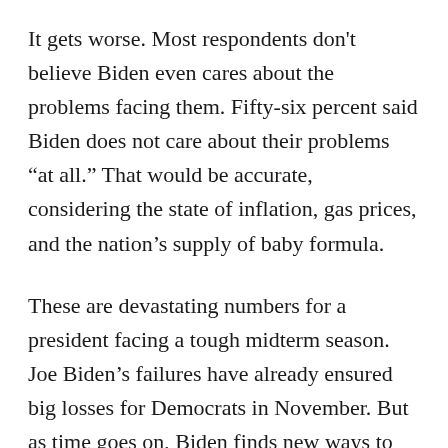It gets worse. Most respondents don't believe Biden even cares about the problems facing them. Fifty-six percent said Biden does not care about their problems “at all.” That would be accurate, considering the state of inflation, gas prices, and the nation’s supply of baby formula.
These are devastating numbers for a president facing a tough midterm season. Joe Biden’s failures have already ensured big losses for Democrats in November. But as time goes on, Biden finds new ways to give America the middle finger. He pushes extreme policies like banning “assault weapons.”